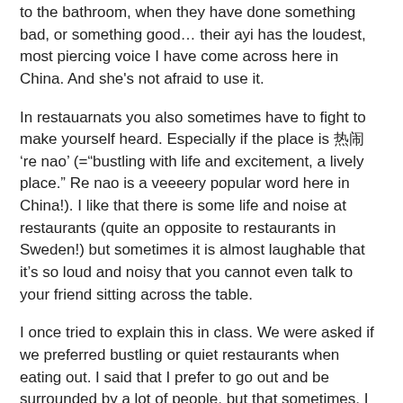to the bathroom, when they have done something bad, or something good… their ayi has the loudest, most piercing voice I have come across here in China. And she's not afraid to use it.
In restauarnats you also sometimes have to fight to make yourself heard. Especially if the place is 热闹 're nao' (="bustling with life and excitement, a lively place." Re nao is a veeeery popular word here in China!). I like that there is some life and noise at restaurants (quite an opposite to restaurants in Sweden!) but sometimes it is almost laughable that it's so loud and noisy that you cannot even talk to your friend sitting across the table.
I once tried to explain this in class. We were asked if we preferred bustling or quiet restaurants when eating out. I said that I prefer to go out and be surrounded by a lot of people, but that sometimes, I preferred a quiet, calm restaurant where I can hear my own thoughts. My message didn't get across however. Instead, the teacher called me 'anti-social.'
So, if you want to stay on top of your game over here, clear